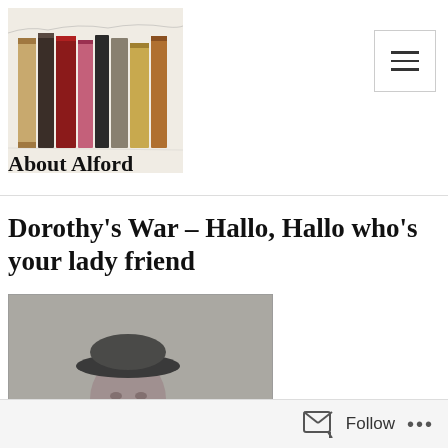[Figure (illustration): Logo image showing a row of colourful books on a shelf, illustrated/painted style]
About Alford
Dorothy's War – Hallo, Hallo who's your lady friend
[Figure (photo): Black and white vintage photograph of a woman wearing a hat, with 'FR' visible in the lower right corner]
Follow ...